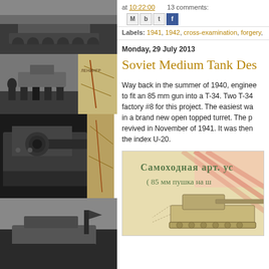[Figure (photo): Left column collage of black and white WWII tank photographs and map images stacked vertically]
at 10:22:00   13 comments:   [M][b][t][f]
Labels: 1941, 1942, cross-examination, forgery,
Monday, 29 July 2013
Soviet Medium Tank Des
Way back in the summer of 1940, enginee to fit an 85 mm gun into a T-34. Two T-34 factory #8 for this project. The easiest wa in a brand new open topped turret. The p revived in November of 1941. It was then the index U-20.
[Figure (photo): Russian language document/blueprint showing a self-propelled artillery piece (85mm gun on T-34 chassis), with Cyrillic text reading Самоходная арт. установка (85 мм пушка на шасси...)]